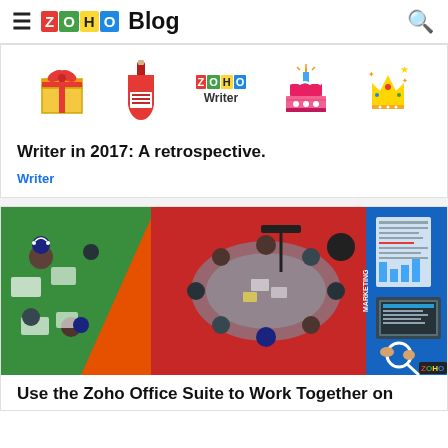≡ ZOHO Blog 🔍
[Figure (illustration): Blog article thumbnail with illustrated icons: gift box, wine bottle, Zoho Writer logo text, birthday cake with candle, crown/trophy icons on white background]
Writer in 2017: A retrospective.
Writer
[Figure (illustration): Colorful illustration divided into three panels: left panel orange/green with people working at desks from top-down view, center panel red/terracotta with people around a large conference table from top-down view, right panel blue with person working at laptop with magnifying glass and documents. Zoho logo in bottom right corner.]
Use the Zoho Office Suite to Work Together on